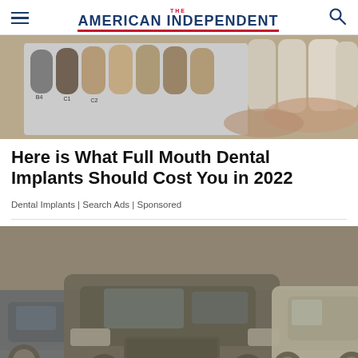THE AMERICAN INDEPENDENT
[Figure (photo): Close-up photo of dental shade guide with labeled tooth color samples (B4, C1, C2) next to real teeth, used for color matching in dentistry.]
Here is What Full Mouth Dental Implants Should Cost You in 2022
Dental Implants | Search Ads | Sponsored
[Figure (photo): Photo of several dust-covered luxury SUVs parked inside a garage or warehouse, including a BMW X5, an Audi Q7, and another vehicle.]